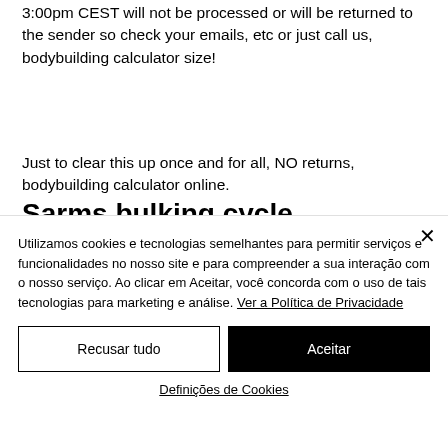3:00pm CEST will not be processed or will be returned to the sender so check your emails, etc or just call us, bodybuilding calculator size!
Just to clear this up once and for all, NO returns, bodybuilding calculator online.
Sarms bulking cycle
Those wanting to give Cardarine a go in a
Utilizamos cookies e tecnologias semelhantes para permitir serviços e funcionalidades no nosso site e para compreender a sua interação com o nosso serviço. Ao clicar em Aceitar, você concorda com o uso de tais tecnologias para marketing e análise. Ver a Política de Privacidade
Recusar tudo
Aceitar
Definições de Cookies